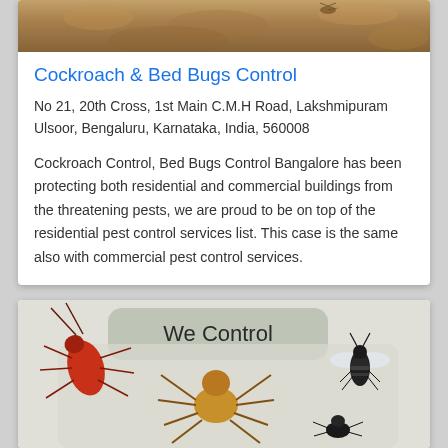[Figure (photo): Top portion of a pest/insects photo strip showing sandy/earthy colored background with insects]
Cockroach & Bed Bugs Control
No 21, 20th Cross, 1st Main C.M.H Road, Lakshmipuram Ulsoor, Bengaluru, Karnataka, India, 560008
Cockroach Control, Bed Bugs Control Bangalore has been protecting both residential and commercial buildings from the threatening pests, we are proud to be on top of the residential pest control services list. This case is the same also with commercial pest control services.
[Figure (photo): We Control pest control service card showing a cockroach, spider, bee/wasp and other insects with 'We Control' text overlay]